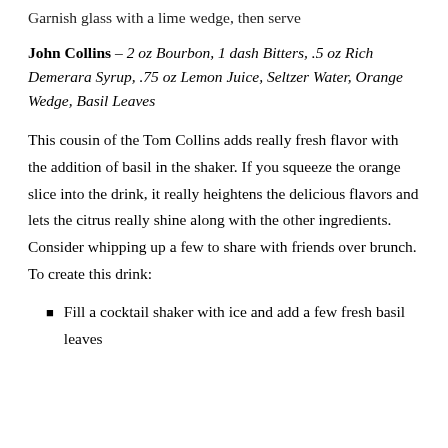Garnish glass with a lime wedge, then serve
John Collins – 2 oz Bourbon, 1 dash Bitters, .5 oz Rich Demerara Syrup, .75 oz Lemon Juice, Seltzer Water, Orange Wedge, Basil Leaves
This cousin of the Tom Collins adds really fresh flavor with the addition of basil in the shaker. If you squeeze the orange slice into the drink, it really heightens the delicious flavors and lets the citrus really shine along with the other ingredients. Consider whipping up a few to share with friends over brunch. To create this drink:
Fill a cocktail shaker with ice and add a few fresh basil leaves